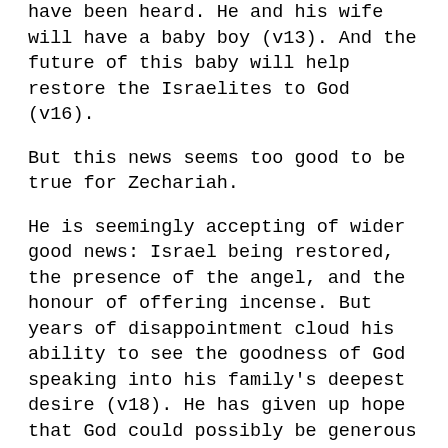have been heard. He and his wife will have a baby boy (v13). And the future of this baby will help restore the Israelites to God (v16).
But this news seems too good to be true for Zechariah.
He is seemingly accepting of wider good news: Israel being restored, the presence of the angel, and the honour of offering incense. But years of disappointment cloud his ability to see the goodness of God speaking into his family’s deepest desire (v18). He has given up hope that God could possibly be generous towards him.
It’s all too easy to have a heart like Zechariah’s. To readily believe Jesus brings good news to the whole world. But struggle to see how it could restore us from our